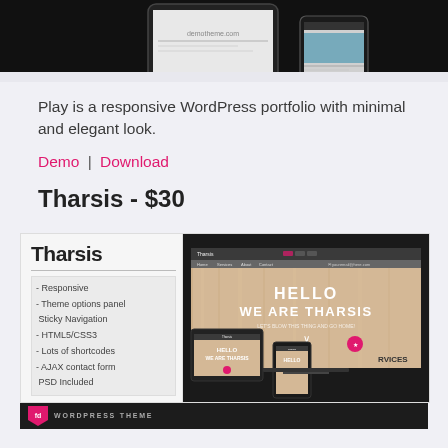[Figure (screenshot): Top portion showing a WordPress theme preview on tablet and phone devices against a dark background]
Play is a responsive WordPress portfolio with minimal and elegant look.
Demo | Download
Tharsis - $30
[Figure (screenshot): Tharsis WordPress theme preview showing left panel with feature list (Responsive, Theme options panel, Sticky Navigation, HTML5/CSS3, Lots of shortcodes, AJAX contact form, PSD Included) and right panel showing website preview with 'HELLO WE ARE THARSIS' hero text on wood-texture background, with tablet and mobile device previews below]
WORDPRESS THEME